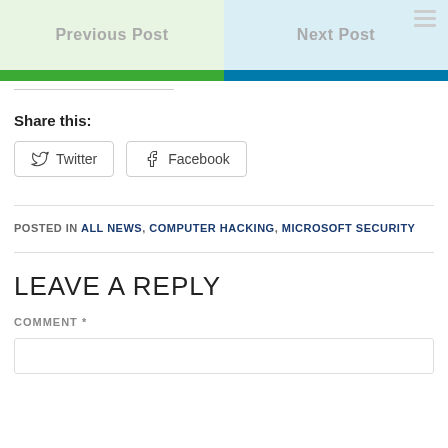[Figure (screenshot): Navigation bar with Previous Post on green background and Next Post on light blue background, with hamburger menu icon]
Share this:
[Figure (other): Twitter and Facebook share buttons]
POSTED IN ALL NEWS, COMPUTER HACKING, MICROSOFT SECURITY
LEAVE A REPLY
COMMENT *